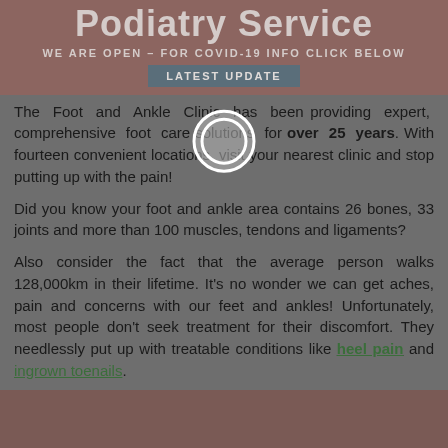Podiatry Service
WE ARE OPEN – FOR COVID-19 INFO CLICK BELOW
LATEST UPDATE
The Foot and Ankle Clinic has been providing expert, comprehensive foot care solutions for over 25 years. With fourteen convenient locations, visit your nearest clinic and stop putting up with the pain!
Did you know your foot and ankle area contains 26 bones, 33 joints and more than 100 muscles, tendons and ligaments?
Also consider the fact that the average person walks 128,000km in their lifetime. It's no wonder we can get aches, pain and concerns with our feet and ankles! Unfortunately, most people don't seek treatment for their discomfort. They needlessly put up with treatable conditions like heel pain and ingrown toenails.